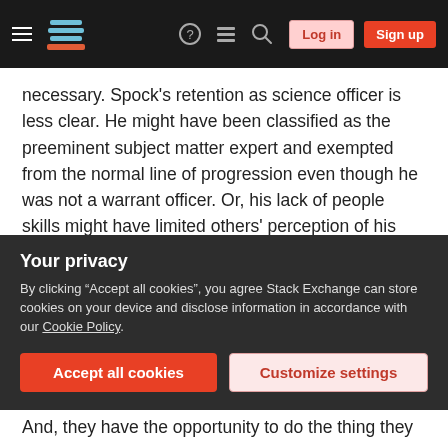Stack Exchange navigation bar with Log in and Sign up buttons
necessary. Spock's retention as science officer is less clear. He might have been classified as the preeminent subject matter expert and exempted from the normal line of progression even though he was not a warrant officer. Or, his lack of people skills might have limited others' perception of his leadership skills until they were proven under (and attested by) Kirk, his superior.
Coincidentally, the US military has toyed with the idea of exempting pilots from the progression
Your privacy
By clicking "Accept all cookies", you agree Stack Exchange can store cookies on your device and disclose information in accordance with our Cookie Policy.
Accept all cookies
Customize settings
And, they have the opportunity to do the thing they